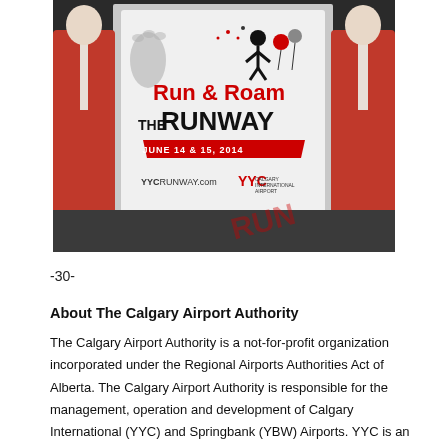[Figure (photo): Two people in red vests holding a large sign that reads 'Run & Roam The RUNWAY, June 14 & 15, 2014, YYCCRUNWAY.com, YYC Calgary Airport Authority']
-30-
About The Calgary Airport Authority
The Calgary Airport Authority is a not-for-profit organization incorporated under the Regional Airports Authorities Act of Alberta. The Calgary Airport Authority is responsible for the management, operation and development of Calgary International (YYC) and Springbank (YBW) Airports. YYC is an important economic engine for the city, region and